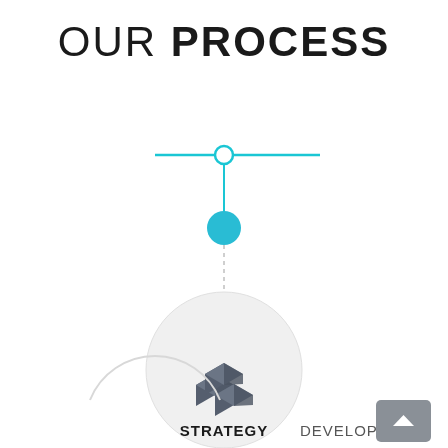OUR PROCESS
[Figure (infographic): Process infographic showing a horizontal timeline with a cyan circle node, a vertical connector line leading to a filled cyan dot, then a dashed line down to a large light gray circle containing a 3D blocks/cubes icon, and a partial circle shape in the bottom left. Below is the step label 'STRATEGY DEVELOPMENT'. A back-to-top button is in the bottom right.]